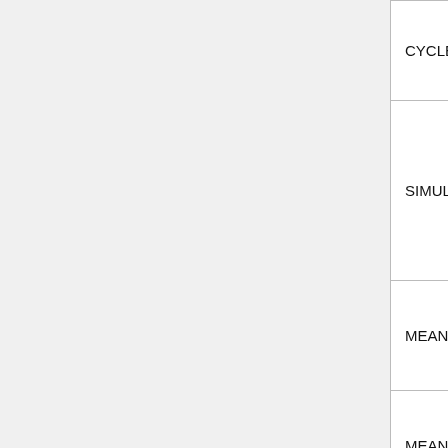| Name | Count | Description |
| --- | --- | --- |
| CYCLE_IDX | 1 | ...when...was p... |
| SIMULATED_HISTORIES | 1 | Numb... simul... histo... when... was p... |
| MEAN_POP_SIZE | 1 | Mean popul... size |
| MEAN_POP_WGT | 1 | Mean popul... weigh... |
| SIMULATION_COMPLETED | 1 | Flag indica... wheth... not th... simul... was... |